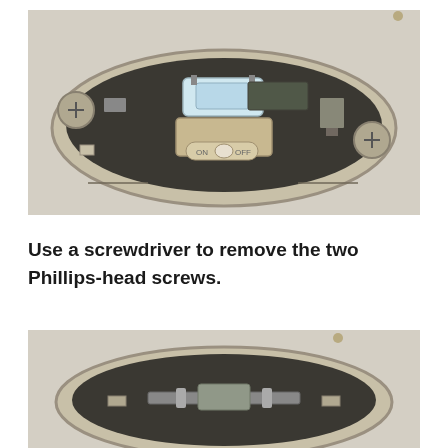[Figure (photo): Interior car ceiling dome light assembly viewed from below, showing the housing removed to expose internal components including a clear cylindrical bulb, beige/tan plastic bracket with ON/OFF switch visible, metal contacts, and two Phillips-head screws in the corners of the beige oval-shaped housing. Background shows light beige car headliner fabric.]
Use a screwdriver to remove the two Phillips-head screws.
[Figure (photo): Similar interior car ceiling dome light assembly viewed from below, showing the beige oval housing with the interior components partially visible, including metal mounting brackets and screws, against the light beige headliner fabric.]